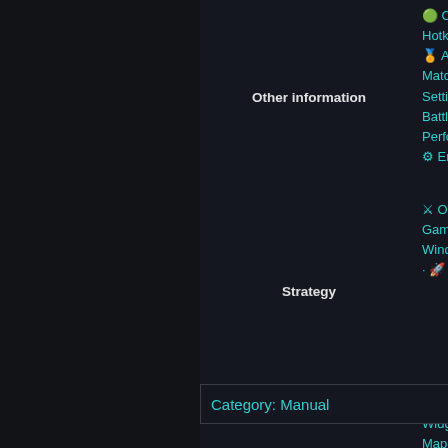Other information
Code of Conduct · Hotkeys · ? Abbr · Awards · Ch · Matchmaking · Setting Up a Game · Battle Options · Performance Options · Engine commands
Strategy
Openings · Game Progression · Wind Farming · Missile Silo Tu
Development/Modding
Developing · Anim · Widget Configuration · Map Creation · ZK Map Making Guide · Startbox API · Mod · Custom Modes · How To Play Mods · Quick Stat Tweaks
Category:  Manual